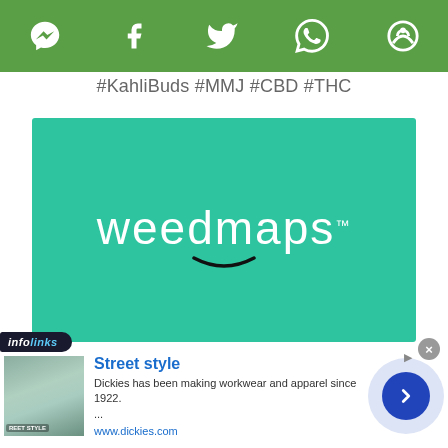[Figure (screenshot): Green toolbar with social media icons: Messenger, Facebook, Twitter, WhatsApp, and another icon]
#KahliBuds #MMJ #CBD #THC
[Figure (logo): Weedmaps logo on teal/green background with smile mark]
[Figure (screenshot): Infolinks advertisement banner showing Street Style Dickies ad with woman in street style clothing, text: Street style, Dickies has been making workwear and apparel since 1922... www.dickies.com, with navigation arrow]